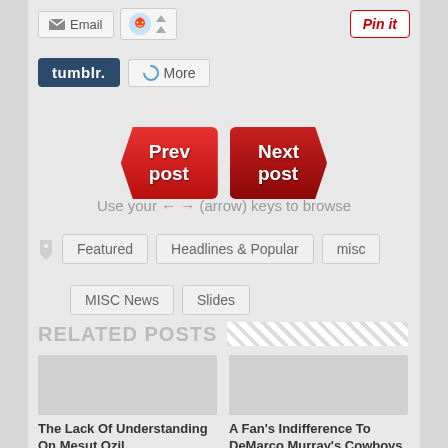[Figure (screenshot): Social sharing bar with Email button, Reddit icon with up/down arrows, and Pinterest Pin it button]
[Figure (screenshot): Tumblr share button (dark blue) and More button with refresh icon]
[Figure (screenshot): Red Prev post and Next post navigation buttons]
Use your ← → (arrow) keys to browse
Featured
Headlines & Popular
misc
MISC News
Slides
RELATED POSTS
The Lack Of Understanding On Mesut Ozil
A Fan's Indifference To DeMarco Murray's Cowboys Return